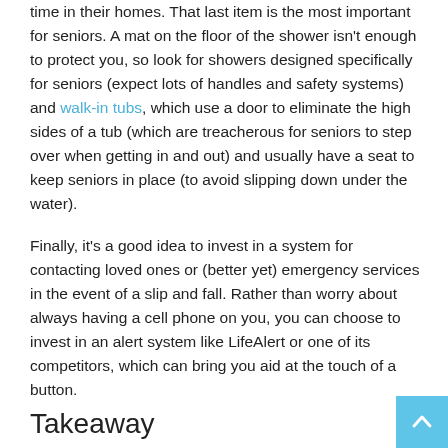time in their homes. That last item is the most important for seniors. A mat on the floor of the shower isn't enough to protect you, so look for showers designed specifically for seniors (expect lots of handles and safety systems) and walk-in tubs, which use a door to eliminate the high sides of a tub (which are treacherous for seniors to step over when getting in and out) and usually have a seat to keep seniors in place (to avoid slipping down under the water).
Finally, it's a good idea to invest in a system for contacting loved ones or (better yet) emergency services in the event of a slip and fall. Rather than worry about always having a cell phone on you, you can choose to invest in an alert system like LifeAlert or one of its competitors, which can bring you aid at the touch of a button.
Takeaway